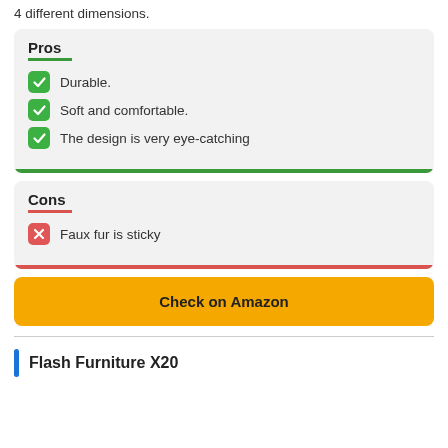4 different dimensions.
Pros
Durable.
Soft and comfortable.
The design is very eye-catching
Cons
Faux fur is sticky
Check on Amazon
Flash Furniture X20